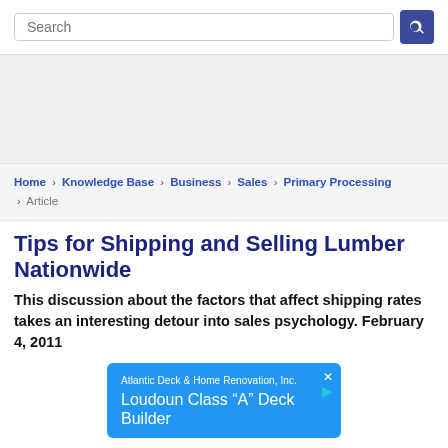Search
[Figure (other): Advertisement placeholder area, gray background]
Home › Knowledge Base › Business › Sales › Primary Processing › Article
Tips for Shipping and Selling Lumber Nationwide
This discussion about the factors that affect shipping rates takes an interesting detour into sales psychology. February 4, 2011
[Figure (other): Blue advertisement banner for Atlantic Deck & Home Renovation, Inc. — 'Loudoun Class "A" Deck Builder']